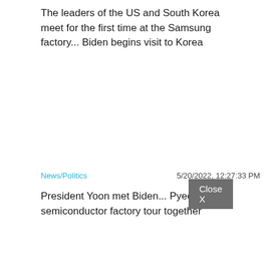The leaders of the US and South Korea meet for the first time at the Samsung factory... Biden begins visit to Korea
News/Politics   5/20/2022, 12:27:33 PM
President Yoon met Biden... Pyeongtaek semiconductor factory tour together
Close X